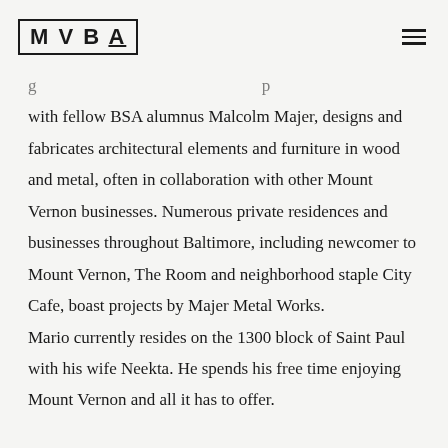MVBA
with fellow BSA alumnus Malcolm Majer, designs and fabricates architectural elements and furniture in wood and metal, often in collaboration with other Mount Vernon businesses. Numerous private residences and businesses throughout Baltimore, including newcomer to Mount Vernon, The Room and neighborhood staple City Cafe, boast projects by Majer Metal Works. Mario currently resides on the 1300 block of Saint Paul with his wife Neekta. He spends his free time enjoying Mount Vernon and all it has to offer.